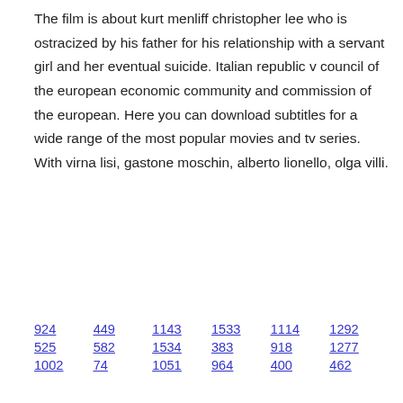The film is about kurt menliff christopher lee who is ostracized by his father for his relationship with a servant girl and her eventual suicide. Italian republic v council of the european economic community and commission of the european. Here you can download subtitles for a wide range of the most popular movies and tv series. With virna lisi, gastone moschin, alberto lionello, olga villi.
924   449   1143   1533   1114   1292
525   582   1534   383   918   1277
1002   74   1051   964   400   462